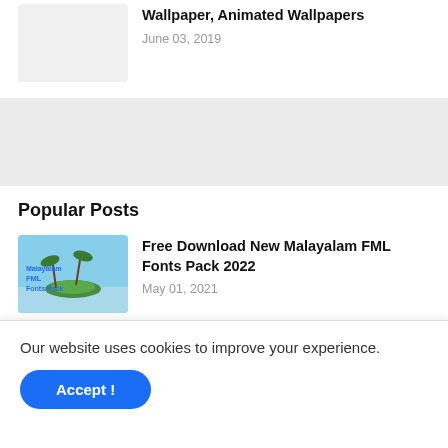Wallpaper, Animated Wallpapers
June 03, 2019
[Figure (other): Light gray advertisement banner]
Popular Posts
[Figure (illustration): Malayalam FML Fonts Pack thumbnail with tropical island image]
Free Download New Malayalam FML Fonts Pack 2022
May 01, 2021
[Figure (other): Light gray placeholder thumbnail]
BDMusic440.Me | Latest All Movie Free Download Post
Our website uses cookies to improve your experience.
Accept !